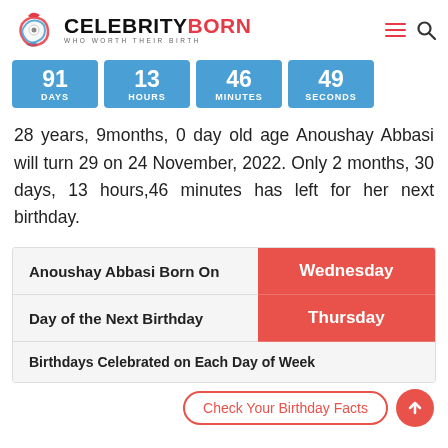CELEBRITYBORN — WHO WORTH THEIR BIRTH
[Figure (infographic): Countdown timer showing 91 DAYS, 13 HOURS, 46 MINUTES, 49 SECONDS in blue boxes]
28 years, 9months, 0 day old age Anoushay Abbasi will turn 29 on 24 November, 2022. Only 2 months, 30 days, 13 hours,46 minutes has left for her next birthday.
| Anoushay Abbasi Born On | Wednesday |
| Day of the Next Birthday | Thursday |
| Birthdays Celebrated on Each Day of Week |  |